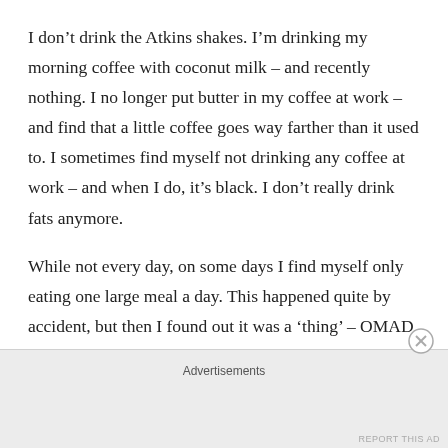I don't drink the Atkins shakes. I'm drinking my morning coffee with coconut milk – and recently nothing. I no longer put butter in my coffee at work – and find that a little coffee goes way farther than it used to. I sometimes find myself not drinking any coffee at work – and when I do, it's black. I don't really drink fats anymore.
While not every day, on some days I find myself only eating one large meal a day. This happened quite by accident, but then I found out it was a 'thing' – OMAD (One Meal A DAY) or 23/1 Fasting. It seems there's this
Advertisements